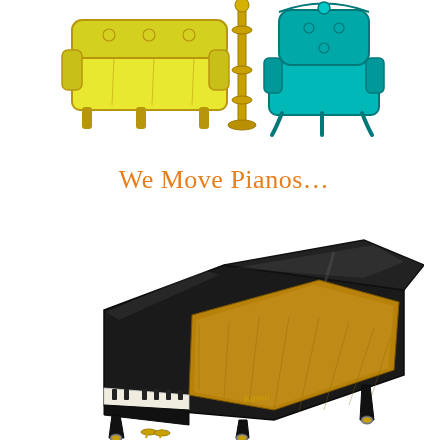[Figure (illustration): Ornate yellow/gold baroque sofa on the left, a tall decorative gold lamp post in the center, and a teal/turquoise baroque armchair on the right, all on white background]
We Move Pianos…
[Figure (photo): A Kawai grand piano with lid open, finished in black lacquer, shown at an angle on white background]